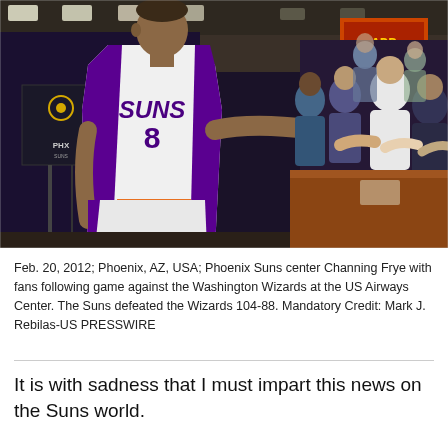[Figure (photo): Phoenix Suns player wearing jersey number 8 greeting fans along a counter/barrier inside an arena corridor, with PHX Suns logo visible on a sign in the background.]
Feb. 20, 2012; Phoenix, AZ, USA; Phoenix Suns center Channing Frye with fans following game against the Washington Wizards at the US Airways Center. The Suns defeated the Wizards 104-88. Mandatory Credit: Mark J. Rebilas-US PRESSWIRE
It is with sadness that I must impart this news on the Suns world.